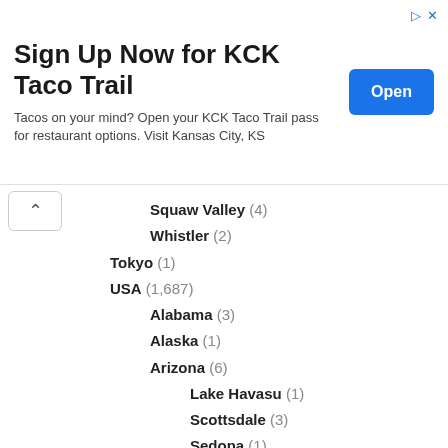[Figure (screenshot): Advertisement banner for KCK Taco Trail with title 'Sign Up Now for KCK Taco Trail', body text 'Tacos on your mind? Open your KCK Taco Trail pass for restaurant options. Visit Kansas City, KS', and a blue 'Open' button on the right.]
Squaw Valley (4)
Whistler (2)
Tokyo (1)
USA (1,687)
Alabama (3)
Alaska (1)
Arizona (6)
Lake Havasu (1)
Scottsdale (3)
Sedona (1)
Boston (5)
California (1,261)
Carmel (24)
Central Coast (9)